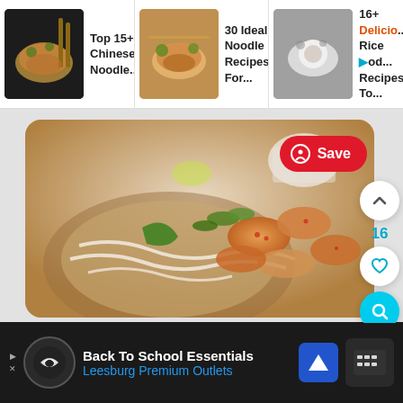[Figure (screenshot): Top navigation bar with three recipe cards: 'Top 15+ Chinese Noodle...' with food thumbnail, '30 Ideal Noodle Recipes For...' with food thumbnail, '16+ Delicio... Rice Nod... Recipes To...' with food thumbnail]
[Figure (photo): Main food photo showing spicy shrimp noodle dish in a bowl with herbs and lime, with Pinterest Save button overlay and interaction controls (up arrow, 16 likes count, heart icon, search icon) on the right side]
[Figure (screenshot): Advertisement bar at bottom: 'Back To School Essentials' and 'Leesburg Premium Outlets' on dark background with logos and navigation arrow icon]